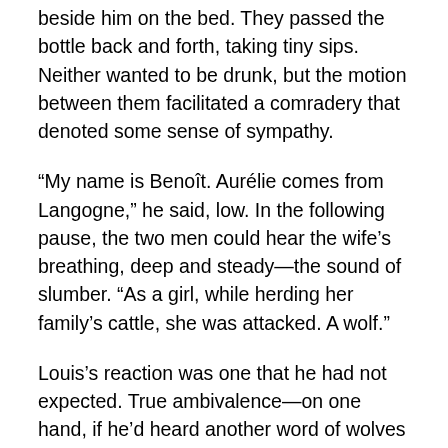beside him on the bed. They passed the bottle back and forth, taking tiny sips. Neither wanted to be drunk, but the motion between them facilitated a comradery that denoted some sense of sympathy.
“My name is Benoît. Aurélie comes from Langogne,” he said, low. In the following pause, the two men could hear the wife’s breathing, deep and steady—the sound of slumber. “As a girl, while herding her family’s cattle, she was attacked. A wolf.”
Louis’s reaction was one that he had not expected. True ambivalence—on one hand, if he’d heard another word of wolves he felt he might thrash someone, and on the other, with the image of the poor woman’s pink stump stamped into his brain, his blood tingled cold.
“The locals, all through this region, talk of monsters.”